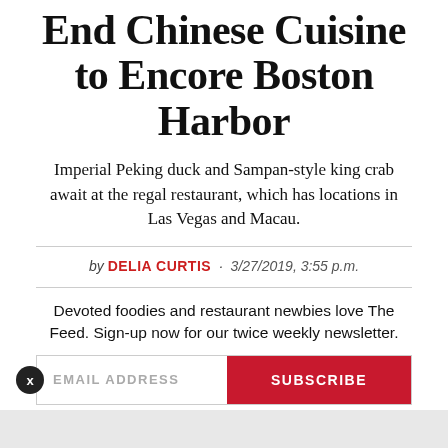End Chinese Cuisine to Encore Boston Harbor
Imperial Peking duck and Sampan-style king crab await at the regal restaurant, which has locations in Las Vegas and Macau.
by DELIA CURTIS · 3/27/2019, 3:55 p.m.
Devoted foodies and restaurant newbies love The Feed. Sign-up now for our twice weekly newsletter.